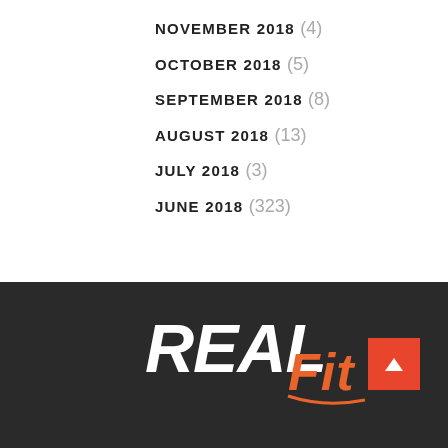NOVEMBER 2018 (4)
OCTOBER 2018 (5)
SEPTEMBER 2018 (8)
AUGUST 2018 (13)
JULY 2018 (3)
JUNE 2018 (323)
[Figure (logo): RealFit logo: REAL in bold white italic text, Fit in orange italic script, on dark background]